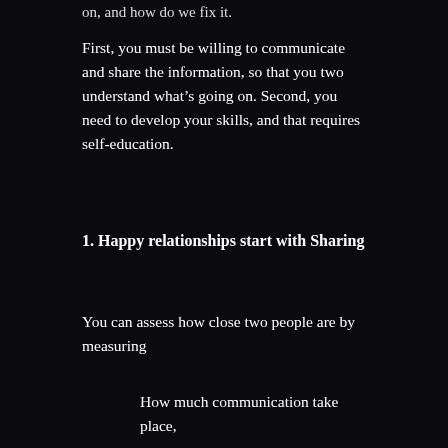on, and how do we fix it.
First, you must be willing to communicate and share the information, so that you two understand what’s going on. Second, you need to develop your skills, and that requires self-education.
1. Happy relationships start with Sharing
You can assess how close two people are by measuring
How much communication take place,